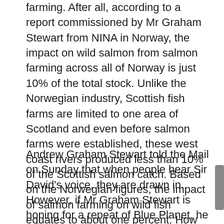farming. After all, according to a report commissioned by Mr Graham Stewart from NINA in Norway, the impact on wild salmon from salmon farming across all of Norway is just 10% of the total stock. Unlike the Norwegian industry, Scottish fish farms are limited to one area of Scotland and even before salmon farms were established, these west coast rivers produced less than 10% of the Scottish salmon catch. Based on the Norwegian figures, the impact of salmon farming on wild fish equates to about one percent. How this can be described as ‘may kill all wild salmon’ beggars-belief.
Andrew Graham Stewart told the Mail on Sunday that when people hear Sir David’s voice, they are drawn in. However, if Mr Graham Stewart is hoping for a repeat of Blue Planet, he is likely to be greatly disappointed. We can understand that the public can relate to the